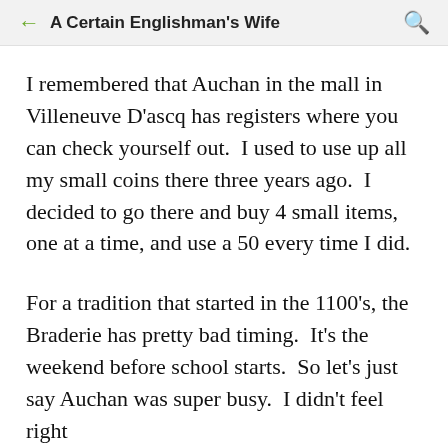A Certain Englishman's Wife
I remembered that Auchan in the mall in Villeneuve D'ascq has registers where you can check yourself out.  I used to use up all my small coins there three years ago.  I decided to go there and buy 4 small items, one at a time, and use a 50 every time I did.
For a tradition that started in the 1100's, the Braderie has pretty bad timing.  It's the weekend before school starts.  So let's just say Auchan was super busy.  I didn't feel right asking to use a register with